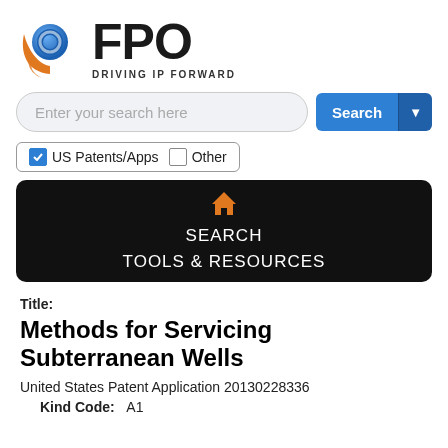[Figure (logo): FPO logo with circular blue/orange graphic and text FPO DRIVING IP FORWARD]
[Figure (screenshot): Search bar with placeholder text 'Enter your search here' and a blue Search button with dropdown arrow]
[Figure (screenshot): Checkbox options: checked 'US Patents/Apps' and unchecked 'Other' in a pill border]
[Figure (screenshot): Dark navigation bar with home icon, SEARCH and TOOLS & RESOURCES menu items]
Title:
Methods for Servicing Subterranean Wells
United States Patent Application 20130228336
Kind Code:    A1